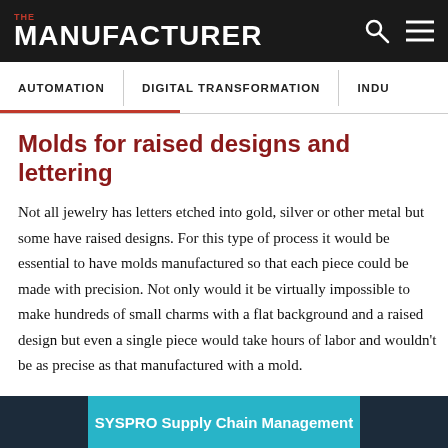THE MANUFACTURER
AUTOMATION | DIGITAL TRANSFORMATION | INDU...
Molds for raised designs and lettering
Not all jewelry has letters etched into gold, silver or other metal but some have raised designs. For this type of process it would be essential to have molds manufactured so that each piece could be made with precision. Not only would it be virtually impossible to make hundreds of small charms with a flat background and a raised design but even a single piece would take hours of labor and wouldn't be as precise as that manufactured with a mold.
[Figure (screenshot): SYSPRO Supply Chain Management banner advertisement with teal/cyan background and dark industrial imagery]